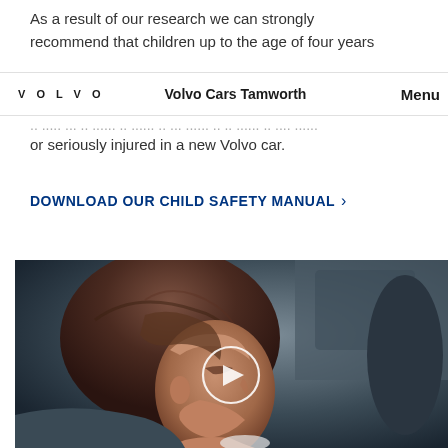As a result of our research we can strongly recommend that children up to the age of four years
VOLVO   Volvo Cars Tamworth   Menu
... ... ... ... ... ... ... ... ... ... ... ... ... ... ... ... ... ... ... ... ...
or seriously injured in a new Volvo car.
DOWNLOAD OUR CHILD SAFETY MANUAL >
[Figure (photo): A young girl with brown hair sitting in a car interior, viewed in profile. A play button overlay (white circle with triangle) is centered on the image, indicating a video.]